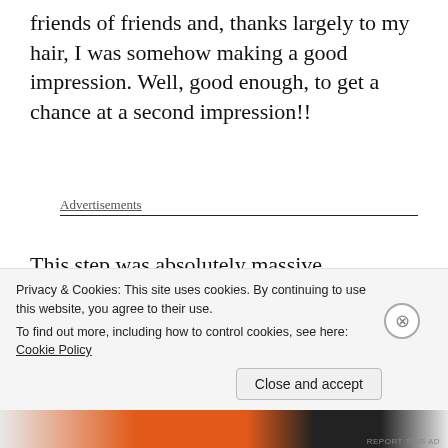friends of friends and, thanks largely to my hair, I was somehow making a good impression. Well, good enough, to get a chance at a second impression!!
Advertisements
This step was absolutely massive. Previously, if I ever got a chance to make new friends, my lack of experience would lead to a less than
Privacy & Cookies: This site uses cookies. By continuing to use this website, you agree to their use.
To find out more, including how to control cookies, see here: Cookie Policy
Close and accept